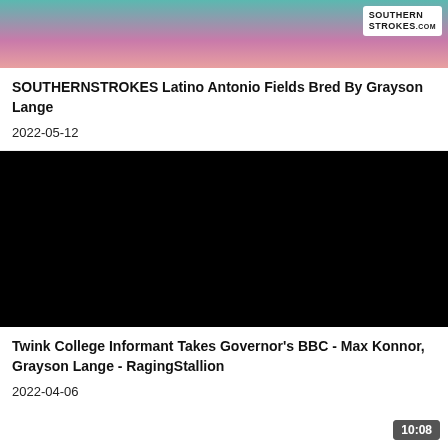[Figure (photo): Video thumbnail showing partial image with SouthernStrokes logo badge in top right corner]
SOUTHERNSTROKES Latino Antonio Fields Bred By Grayson Lange
2022-05-12
[Figure (photo): Black video thumbnail placeholder]
Twink College Informant Takes Governor's BBC - Max Konnor, Grayson Lange - RagingStallion
2022-04-06